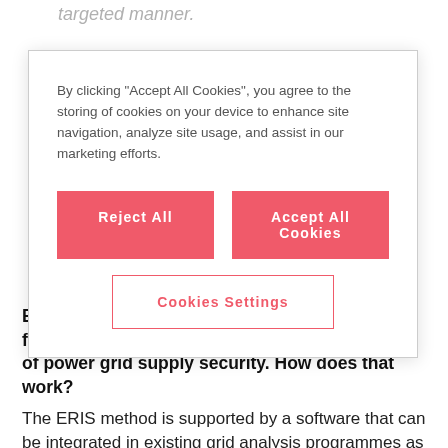targeted manner.
By clicking “Accept All Cookies”, you agree to the storing of cookies on your device to enhance site navigation, analyze site usage, and assist in our marketing efforts.
Reject All
Accept All Cookies
Cookies Settings
ERIS stands for Evaluation of Reliability Index for Electric Systems and measures the quality of power grid supply security. How does that work?
The ERIS method is supported by a software that can be integrated in existing grid analysis programmes as an add-on module. At the push of a button ERIS generates a number between 0 and 120 based on the